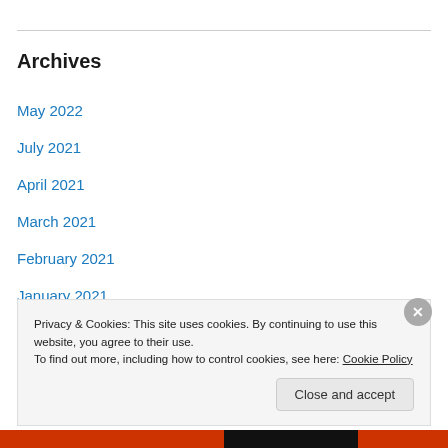Archives
May 2022
July 2021
April 2021
March 2021
February 2021
January 2021
December 2020
October 2020
August 2020
Privacy & Cookies: This site uses cookies. By continuing to use this website, you agree to their use. To find out more, including how to control cookies, see here: Cookie Policy
Close and accept